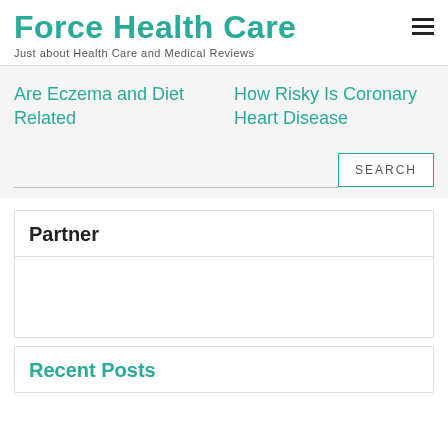Force Health Care
Just about Health Care and Medical Reviews
Are Eczema and Diet Related
How Risky Is Coronary Heart Disease
SEARCH
Partner
Recent Posts